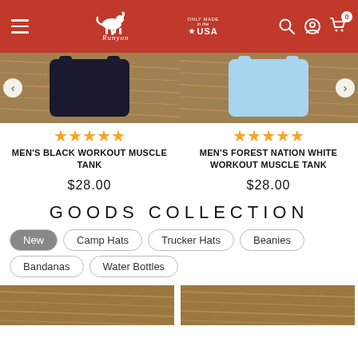[Figure (screenshot): Runyon brand website header with red background, hamburger menu, running horse logo, 'Only Made in the USA' badge, search, account, and cart icons]
[Figure (photo): Men's black workout muscle tank top laid on hay/straw background]
[Figure (photo): Men's light blue workout muscle tank top laid on hay/straw background]
★★★★★
MEN'S BLACK WORKOUT MUSCLE TANK
$28.00
★★★★★
MEN'S FOREST NATION WHITE WORKOUT MUSCLE TANK
$28.00
GOODS COLLECTION
New
Camp Hats
Trucker Hats
Beanies
Bandanas
Water Bottles
[Figure (photo): Partial product image on hay/straw background (left)]
[Figure (photo): Partial product image on hay/straw background (right)]